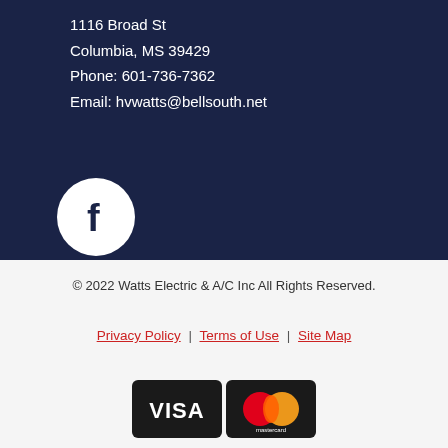1116 Broad St
Columbia, MS 39429
Phone: 601-736-7362
Email: hvwatts@bellsouth.net
[Figure (logo): Facebook logo circle icon in white on dark navy background]
© 2022 Watts Electric & A/C Inc All Rights Reserved.
Privacy Policy | Terms of Use | Site Map
[Figure (logo): Visa and Mastercard payment icons side by side]